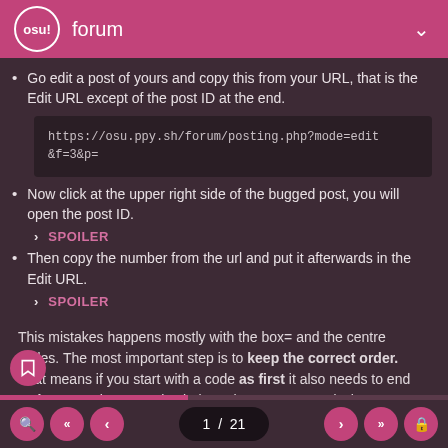osu! forum
Go edit a post of yours and copy this from your URL, that is the Edit URL except of the post ID at the end.
https://osu.ppy.sh/forum/posting.php?mode=edit&f=3&p=
Now click at the upper right side of the bugged post, you will open the post ID.
› SPOILER
Then copy the number from the url and put it afterwards in the Edit URL.
› SPOILER
This mistakes happens mostly with the box= and the centre codes. The most important step is to keep the correct order. That means if you start with a code as first it also needs to end as last, see the examples below what's correct and what's wrong:
1 / 21